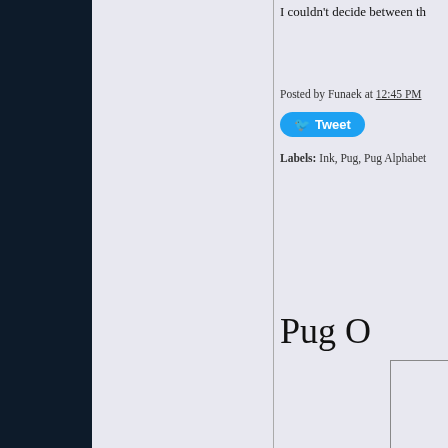I couldn't decide between th…
Posted by Funaek at 12:45 PM
Tweet
Labels: Ink, Pug, Pug Alphabet
Pug O